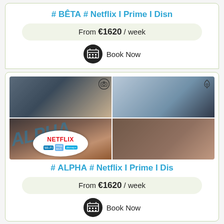# BÊTA # Netflix I Prime I Disn
From €1620 / week
Book Now
[Figure (photo): Apartment interior collage with ALPHA watermark, Netflix/Prime/Disney logos]
# ALPHA # Netflix I Prime I Dis
From €1620 / week
Book Now